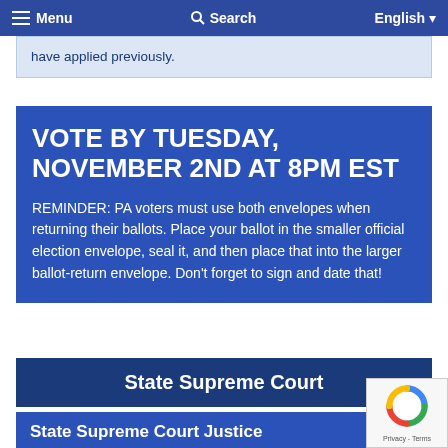≡ Menu   🔍 Search   English ▼
have applied previously.
VOTE BY TUESDAY, NOVEMBER 2ND AT 8PM EST
REMINDER: PA voters must use both envelopes when returning their ballots. Place your ballot in the smaller official election envelope, seal it, and then place that into the larger ballot-return envelope. Don't forget to sign and date that!
State Supreme Court
State Supreme Court Justice